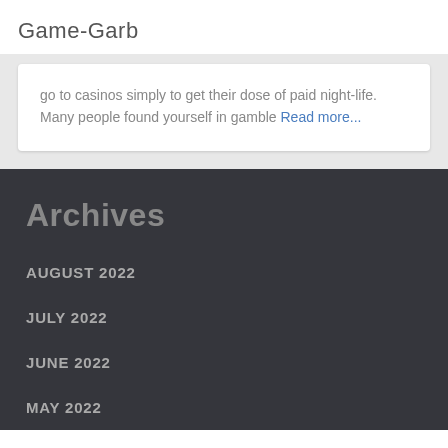Game-Garb
go to casinos simply to get their dose of paid night-life. Many people found yourself in gamble Read more...
Archives
AUGUST 2022
JULY 2022
JUNE 2022
MAY 2022